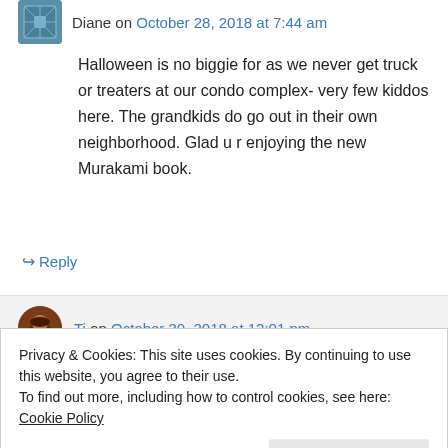Diane on October 28, 2018 at 7:44 am
Halloween is no biggie for as we never get truck or treaters at our condo complex- very few kiddos here. The grandkids do go out in their own neighborhood. Glad u r enjoying the new Murakami book.
↳ Reply
Ti on October 30, 2018 at 12:01 pm
Privacy & Cookies: This site uses cookies. By continuing to use this website, you agree to their use.
To find out more, including how to control cookies, see here: Cookie Policy
Close and accept
no effect on numbers.